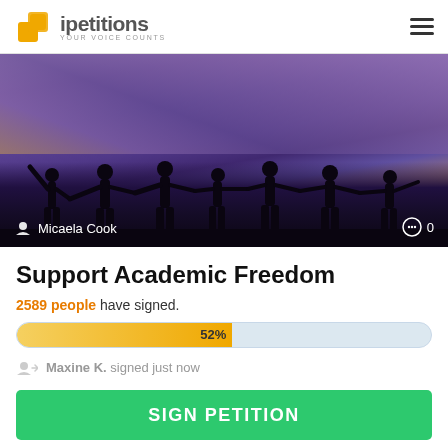ipetitions — YOUR VOICE COUNTS
[Figure (photo): Silhouettes of people with raised arms holding hands against a purple/blue twilight sky. Author: Micaela Cook. Comment count: 0.]
Support Academic Freedom
2589 people have signed.
[Figure (infographic): Progress bar showing 52% completion, orange fill on light blue background.]
Maxine K. signed just now
SIGN PETITION